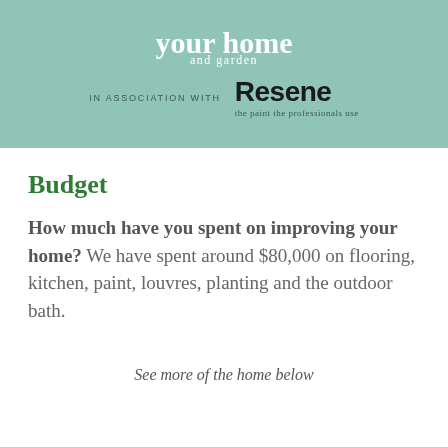your home and garden — IN ASSOCIATION WITH Resene the paint the professionals use
Budget
How much have you spent on improving your home? We have spent around $80,000 on flooring, kitchen, paint, louvres, planting and the outdoor bath.
See more of the home below